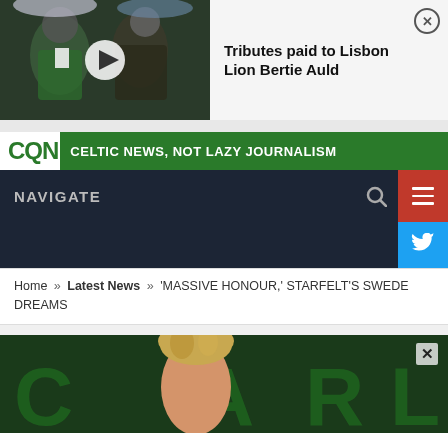[Figure (photo): Video thumbnail showing two men in rain with green jackets, with a play button overlay]
Tributes paid to Lisbon Lion Bertie Auld
[Figure (logo): CQN logo - Celtic News, Not Lazy Journalism banner]
NAVIGATE
Home » Latest News » 'MASSIVE HONOUR,' STARFELT'S SWEDE DREAMS
[Figure (photo): Carl Starfelt image with Celtic jersey letters CARL visible in background, with close X button]